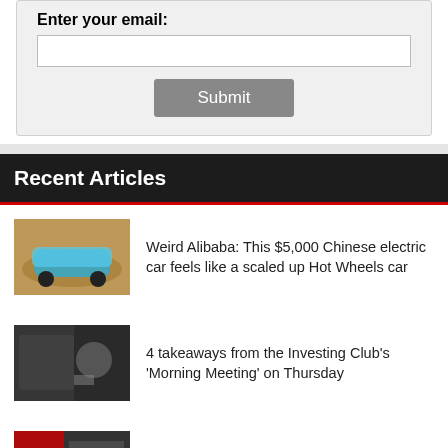Enter your email:
Recent Articles
Weird Alibaba: This $5,000 Chinese electric car feels like a scaled up Hot Wheels car
4 takeaways from the Investing Club's 'Morning Meeting' on Thursday
George Conway predicts what FBI was looking for